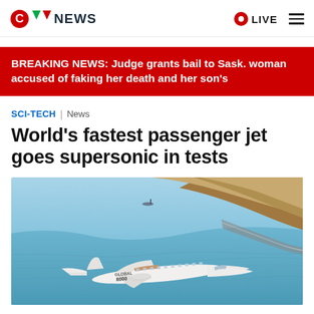CTV News | LIVE
BREAKING NEWS: Judge grants bail to Sask. woman accused of faking her death and her son's
SCI-TECH | News
World's fastest passenger jet goes supersonic in tests
[Figure (photo): A white private jet (Global 8000) flying over a coastal landscape with blue ocean, a curving shoreline, and brown hills in the background. The aircraft is shown in flight from a slightly elevated angle.]